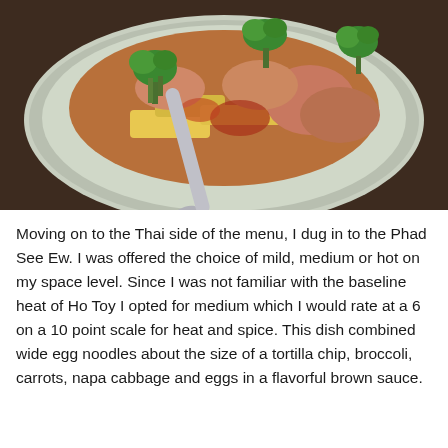[Figure (photo): A plate of Phad See Ew Thai dish showing wide egg noodles with broccoli, meat, and brown sauce on a round plate with a spoon, photographed from above on a dark wooden table.]
Moving on to the Thai side of the menu, I dug in to the Phad See Ew. I was offered the choice of mild, medium or hot on my space level. Since I was not familiar with the baseline heat of Ho Toy I opted for medium which I would rate at a 6 on a 10 point scale for heat and spice. This dish combined wide egg noodles about the size of a tortilla chip, broccoli, carrots, napa cabbage and eggs in a flavorful brown sauce.